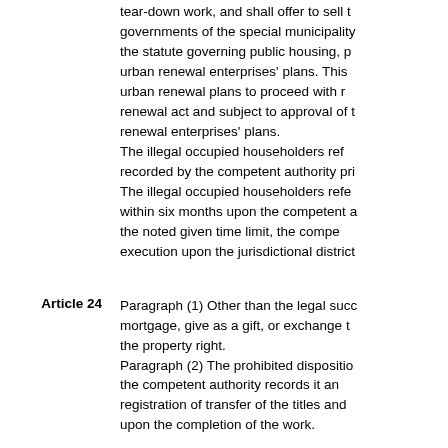tear-down work, and shall offer to sell the governments of the special municipality the statute governing public housing, p urban renewal enterprises' plans. This urban renewal plans to proceed with r renewal act and subject to approval of t renewal enterprises' plans. The illegal occupied householders ref recorded by the competent authority pri The illegal occupied householders refe within six months upon the competent a the noted given time limit, the compe execution upon the jurisdictional district
Article 24  Paragraph (1) Other than the legal succ mortgage, give as a gift, or exchange t the property right. Paragraph (2) The prohibited dispositio the competent authority records it an registration of transfer of the titles and upon the completion of the work.